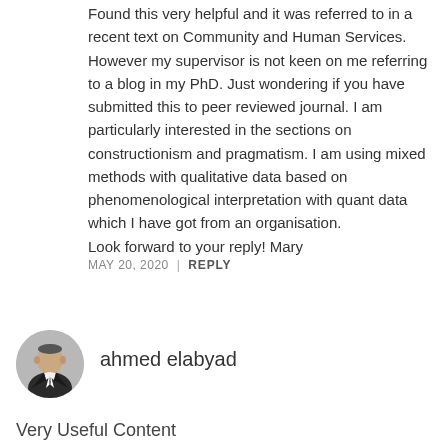Found this very helpful and it was referred to in a recent text on Community and Human Services. However my supervisor is not keen on me referring to a blog in my PhD. Just wondering if you have submitted this to peer reviewed journal. I am particularly interested in the sections on constructionism and pragmatism. I am using mixed methods with qualitative data based on phenomenological interpretation with quant data which I have got from an organisation.
Look forward to your reply! Mary
MAY 20, 2020  |  REPLY
[Figure (photo): Avatar photo of ahmed elabyad, a man in a suit]
ahmed elabyad
Very Useful Content